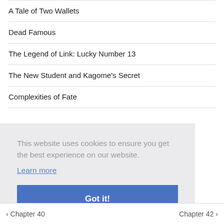A Tale of Two Wallets
Dead Famous
The Legend of Link: Lucky Number 13
The New Student and Kagome's Secret
Complexities of Fate
This website uses cookies to ensure you get the best experience on our website.
Learn more
Got it!
< Chapter 40    Chapter 42 >